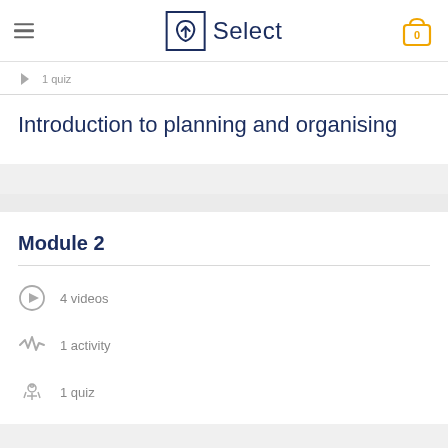Select
1 quiz
Introduction to planning and organising
Module 2
4 videos
1 activity
1 quiz